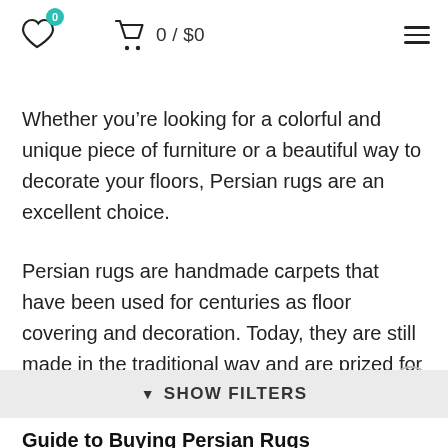[Figure (screenshot): E-commerce site header with heart/wishlist icon (badge showing 0), shopping cart icon with '0 / $0' text, and hamburger menu icon]
Whether you’re looking for a colorful and unique piece of furniture or a beautiful way to decorate your floors, Persian rugs are an excellent choice.
Persian rugs are handmade carpets that have been used for centuries as floor covering and decoration. Today, they are still made in the traditional way and are prized for their beautiful designs and craftsmanship.
Guide to Buying Persian Rugs
▼ SHOW FILTERS